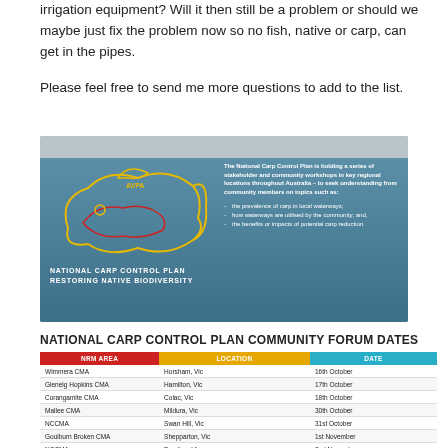irrigation equipment? Will it then still be a problem or should we maybe just fix the problem now so no fish, native or carp, can get in the pipes.
Please feel free to send me more questions to add to the list.
[Figure (infographic): National Carp Control Plan banner showing an outline of a carp fish on a blue-grey background. Text reads: 'The National Carp Control Plan is holding a series of stakeholder and community workshops in key regional locations throughout Australia – to seek understanding from community members on topics such as: the prevalence of carp in local waterways; how waterways are utilised by the community; and, the benefits or impacts of potential carp reduction.' Logo text: NATIONAL CARP CONTROL PLAN / RESTORING NATIVE BIODIVERSITY.]
NATIONAL CARP CONTROL PLAN COMMUNITY FORUM DATES
| NRM AREA | LOCATION | DATE |
| --- | --- | --- |
| Wimmera CMA | Horsham, Vic | 16th October |
| Glenelg Hopkins CMA | Hamilton, Vic | 17th October |
| Corangamite CMA | Colac, Vic | 18th October |
| Mallee CMA | Mildura, Vic | 30th October |
| NCCMA | Swan Hill, Vic | 31st October |
| Goulburn Broken CMA | Shepparton, Vic | 1st November |
| NCCMA | Bendigo, Vic | 2nd November |